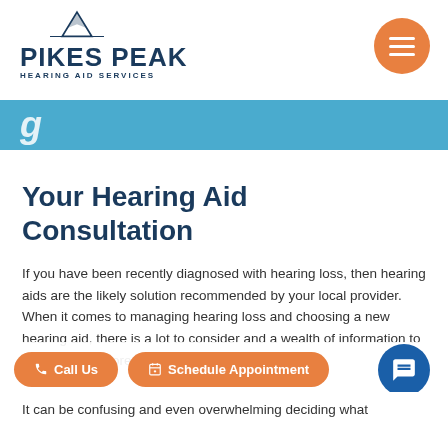Pikes Peak Hearing Aid Services
Your Hearing Aid Consultation
If you have been recently diagnosed with hearing loss, then hearing aids are the likely solution recommended by your local provider. When it comes to managing hearing loss and choosing a new hearing aid, there is a lot to consider and a wealth of information to understand before making a decision.
It can be confusing and even overwhelming deciding what